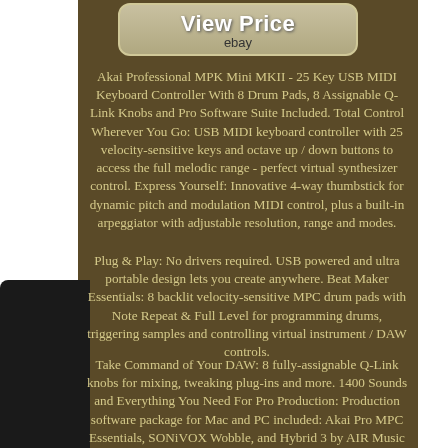[Figure (other): View Price button with eBay label on brown background]
Akai Professional MPK Mini MKII - 25 Key USB MIDI Keyboard Controller With 8 Drum Pads, 8 Assignable Q-Link Knobs and Pro Software Suite Included. Total Control Wherever You Go: USB MIDI keyboard controller with 25 velocity-sensitive keys and octave up / down buttons to access the full melodic range - perfect virtual synthesizer control. Express Yourself: Innovative 4-way thumbstick for dynamic pitch and modulation MIDI control, plus a built-in arpeggiator with adjustable resolution, range and modes.
Plug & Play: No drivers required. USB powered and ultra portable design lets you create anywhere. Beat Maker Essentials: 8 backlit velocity-sensitive MPC drum pads with Note Repeat & Full Level for programming drums, triggering samples and controlling virtual instrument / DAW controls.
Take Command of Your DAW: 8 fully-assignable Q-Link knobs for mixing, tweaking plug-ins and more. 1400 Sounds and Everything You Need For Pro Production: Production software package for Mac and PC included: Akai Pro MPC Essentials, SONiVOX Wobble, and Hybrid 3 by AIR Music Tech (downloads). Take control, wherever